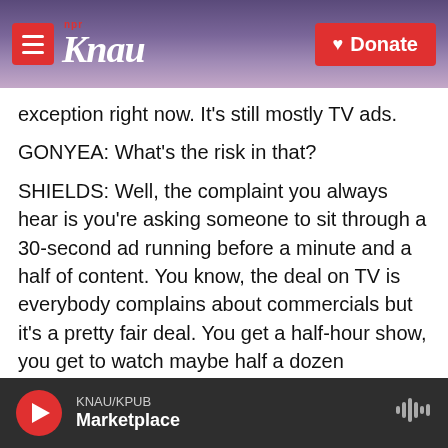[Figure (screenshot): KNAU NPR radio station website header with logo and Donate button over a purple mountain background]
exception right now. It's still mostly TV ads.
GONYEA: What's the risk in that?
SHIELDS: Well, the complaint you always hear is you're asking someone to sit through a 30-second ad running before a minute and a half of content. You know, the deal on TV is everybody complains about commercials but it's a pretty fair deal. You get a half-hour show, you get to watch maybe half a dozen commercials. The balance is kind of off when you're throwing TV spots in front of video content.
KNAU/KPUB Marketplace